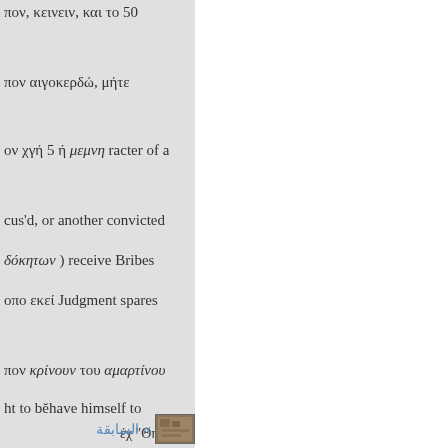πον, κεινειν, και το 50
πον αιγοκερδώ, μήτε
ον χγή 5 ή μεμνη racter of a
cus'd, or another convicted
δόκητων ) receive Bribes
οπο εκεί Judgment spares
πον κρίνουν του αμαρτίνου
ht to běhave himself to
έχ "Θη
» السابقة